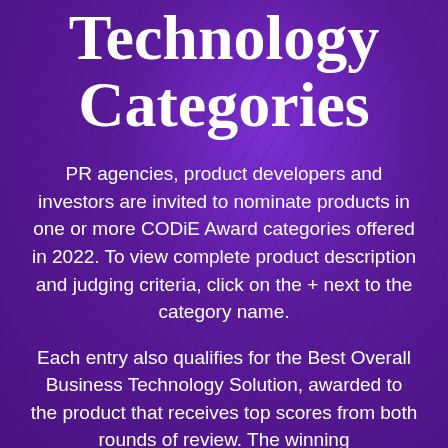Technology Categories
PR agencies, product developers and investors are invited to nominate products in one or more CODiE Award categories offered in 2022. To view complete product description and judging criteria, click on the + next to the category name.
Each entry also qualifies for the Best Overall Business Technology Solution, awarded to the product that receives top scores from both rounds of review. The winning